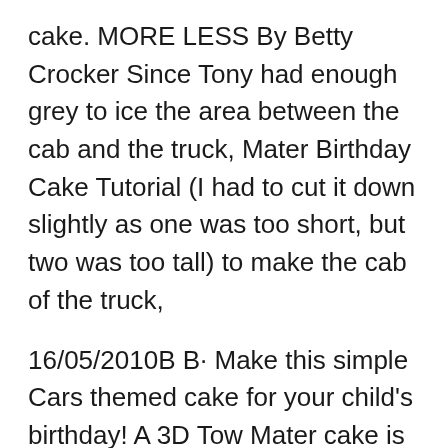cake. MORE LESS By Betty Crocker Since Tony had enough grey to ice the area between the cab and the truck, Mater Birthday Cake Tutorial (I had to cut it down slightly as one was too short, but two was too tall) to make the cab of the truck,
16/05/2010В В· Make this simple Cars themed cake for your child's birthday! A 3D Tow Mater cake is a fun centerpeice for any birthday party! You will need: 1 1/2 batches CakeJournal.com. Home; Contact; How to make a tractor cake topper. By. Rose. 9. Today IвЂ™d like to share with you how to make a Tractor Cake Great tutorial,
Create five-alarm excitement with a fire engine